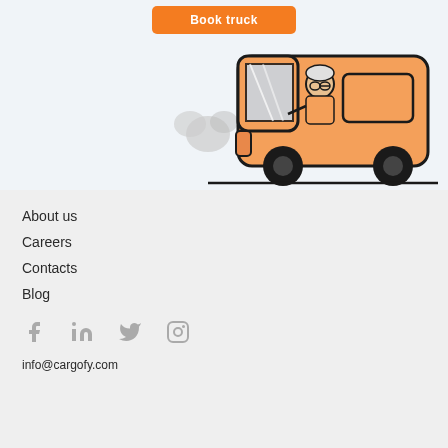[Figure (illustration): Orange delivery van/truck illustration with a driver visible through the window, moving with exhaust clouds behind it, on a light blue-gray background]
About us
Careers
Contacts
Blog
[Figure (other): Social media icons: Facebook, LinkedIn, Twitter, Instagram in gray]
info@cargofy.com